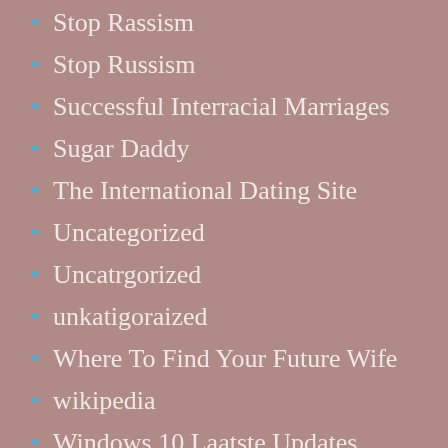Stop Rassism
Stop Russism
Successful Interracial Marriages
Sugar Daddy
The International Dating Site
Uncategorized
Uncatrgorized
unkatigoraized
Where To Find Your Future Wife
wikipedia
Windows 10 Laatste Updates
Windows 11 -päivitys
Война России и Украины 2022
Meta